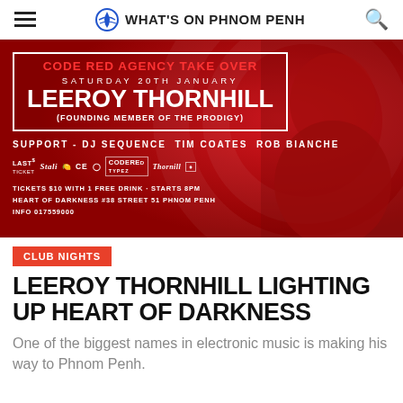WHAT'S ON PHNOM PENH
[Figure (photo): Red promotional event banner for Code Red Agency Take Over featuring Leeroy Thornhill (Founding Member of The Prodigy), Saturday 20th January, with support from DJ Sequence, Tim Coates, Rob Bianche. Tickets $10 with 1 free drink, starts 8pm, Heart of Darkness #38 Street 51 Phnom Penh. A man's face is visible on the right side of the banner.]
CLUB NIGHTS
LEEROY THORNHILL LIGHTING UP HEART OF DARKNESS
One of the biggest names in electronic music is making his way to Phnom Penh.